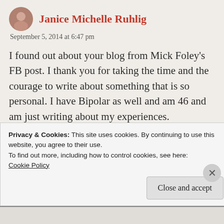Janice Michelle Ruhlig
September 5, 2014 at 6:47 pm
I found out about your blog from Mick Foley's FB post. I thank you for taking the time and the courage to write about something that is so personal. I have Bipolar as well and am 46 and am just writing about my experiences.
I agree that people that have Bipolar tend to be more on the creative side and more intelligent
Privacy & Cookies: This site uses cookies. By continuing to use this website, you agree to their use.
To find out more, including how to control cookies, see here:
Cookie Policy
Close and accept